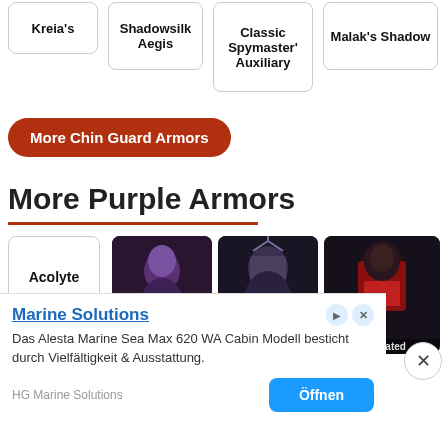Kreia's
Shadowsilk Aegis
Classic Spymaster' Auxiliary
Malak's Shadow
More Chin Guard Armors
More Purple Armors
Acolyte
[Figure (photo): Sovereign armor character image - purple armored figure]
Sovereign
[Figure (photo): War armor character image - dark creature with feathers]
War
[Figure (photo): Venerated armor character image - red and black armor]
Venerated
Marine Solutions
Das Alesta Marine Sea Max 620 WA Cabin Modell besticht durch Vielfältigkeit & Ausstattung.
HG Marine Solutions
Öffnen